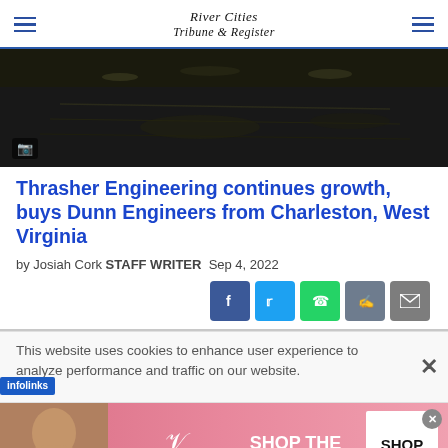River Cities Tribune & Register
[Figure (photo): Nighttime aerial or elevated view of a road/parking lot with dark surroundings]
Thrasher Engineering continues growth, buys Dunn Engineers from Charleston, West Virginia
by Josiah Cork STAFF WRITER  Sep 4, 2022
[Figure (infographic): Social sharing buttons: Facebook, Twitter, WhatsApp, Chat, Email]
This website uses cookies to enhance user experience to analyze performance and traffic on our website.
[Figure (photo): Victoria's Secret advertisement: model photo with SHOP THE COLLECTION and SHOP NOW button]